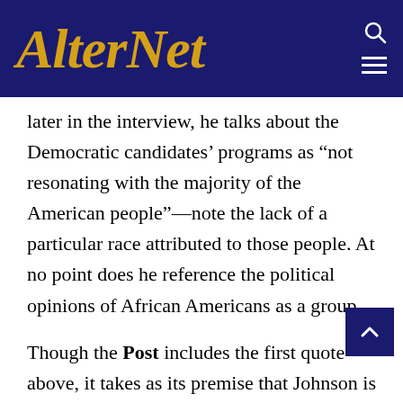AlterNet
later in the interview, he talks about the Democratic candidates' programs as “not resonating with the majority of the American people”—note the lack of a particular race attributed to those people. At no point does he reference the political opinions of African Americans as a group.
Though the Post includes the first quote above, it takes as its premise that Johnson is speaking for his race, soliciting responses to this premise that point out his outlier status in